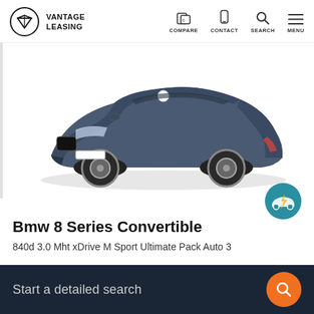VANTAGE LEASING — COMPARE CONTACT SEARCH MENU
[Figure (photo): BMW 8 Series Convertible in dark grey/blue metallic color, top-down convertible, front three-quarter view on white background]
[Figure (logo): Teal circular badge with a car and lightning bolt icon]
Bmw 8 Series Convertible
840d 3.0 Mht xDrive M Sport Ultimate Pack Auto 3
Start a detailed search